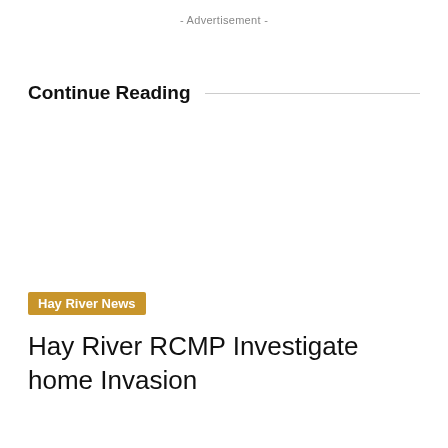- Advertisement -
Continue Reading
Hay River News
Hay River RCMP Investigate home Invasion